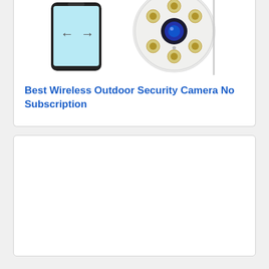[Figure (photo): A smartphone showing an app interface with arrows, and a white wireless outdoor security camera with multiple lens elements, shown against a white background inside a card.]
Best Wireless Outdoor Security Camera No Subscription
[Figure (other): Empty white card placeholder area below the first card.]